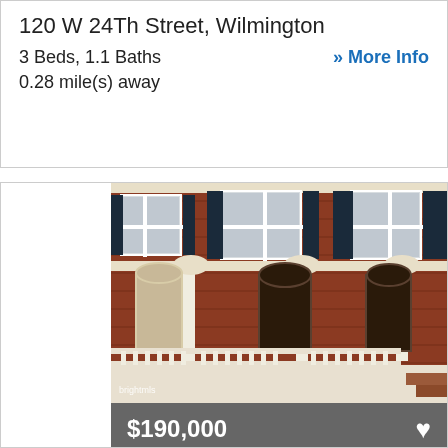120 W 24Th Street, Wilmington
3 Beds, 1.1 Baths
>> More Info
0.28 mile(s) away
[Figure (photo): Exterior photo of a brick rowhouse with white porch, dark shutters, and arched doorways at 120 W 24Th Street, Wilmington. Watermark reads 'brightmls'.]
$190,000
RECENTLY SOLD